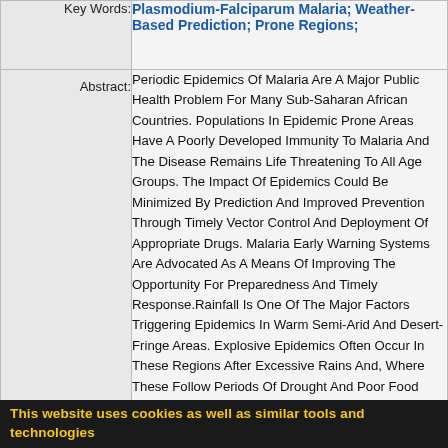| Field | Content |
| --- | --- |
| Key Words: | Plasmodium-Falciparum Malaria; Weather-Based Prediction; Prone Regions; |
| Abstract: | Periodic Epidemics Of Malaria Are A Major Public Health Problem For Many Sub-Saharan African Countries. Populations In Epidemic Prone Areas Have A Poorly Developed Immunity To Malaria And The Disease Remains Life Threatening To All Age Groups. The Impact Of Epidemics Could Be Minimized By Prediction And Improved Prevention Through Timely Vector Control And Deployment Of Appropriate Drugs. Malaria Early Warning Systems Are Advocated As A Means Of Improving The Opportunity For Preparedness And Timely Response.Rainfall Is One Of The Major Factors Triggering Epidemics In Warm Semi-Arid And Desert-Fringe Areas. Explosive Epidemics Often Occur In These Regions After Excessive Rains And, Where These Follow Periods Of Drought And Poor Food Security, Can Be Especially Severe. Consequently, Rainfall Monitoring Forms One Of The Essential Elements For The Development Of Integrated Malaria Early Warning Systems.Rai... |
This website uses cookies as well as similar tools and technologies